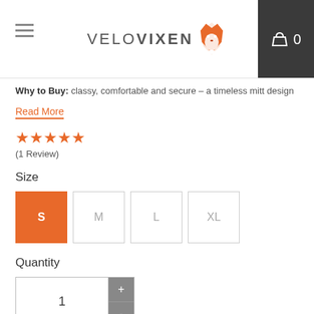VELOVIXEN — navigation header with logo, hamburger menu, and cart (0 items)
Why to Buy: classy, comfortable and secure – a timeless mitt design
Read More
★★★★★
(1 Review)
Size
S  M  L  XL — size selector buttons, S selected
Quantity
1 — quantity selector with + and - buttons